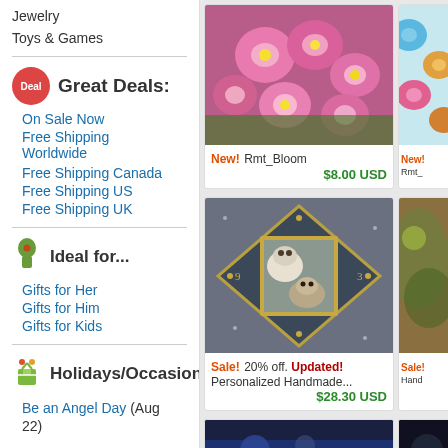Jewelry
Toys & Games
Great Deals:
On Sale Now
Free Shipping Worldwide
Free Shipping Canada
Free Shipping US
Free Shipping UK
Ideal for...
Gifts for Her
Gifts for Him
Gifts for Kids
Holidays/Occasions:
Be an Angel Day (Aug 22)
[Figure (photo): Pink flowers (Rmt_Bloom product photo)]
New! Rmt_Bloom $8.00 USD
[Figure (photo): Floral pattern (partial, right side)]
[Figure (photo): Personalized handmade decorative clock with dogs photo]
Sale! 20% off. Updated! Personalized Handmade... $28.30 USD
[Figure (photo): Partial product image right side]
[Figure (photo): Blue/dark partial image bottom left]
[Figure (photo): Dark partial image bottom right]